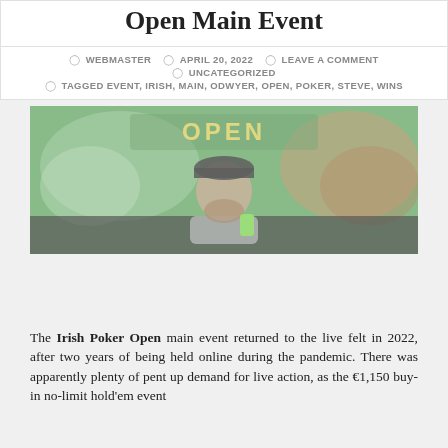Open Main Event
WEBMASTER  APRIL 20, 2022  LEAVE A COMMENT  UNCATEGORIZED  TAGGED EVENT, IRISH, MAIN, ODWYER, OPEN, POKER, STEVE, WINS
[Figure (photo): A man in a dark cap sitting behind a table in front of a green banner reading OPEN, with card suit decorations visible in the background.]
The Irish Poker Open main event returned to the live felt in 2022, after two years of being held online during the pandemic. There was apparently plenty of pent up demand for live action, as the €1,150 buy-in no-limit hold'em event attracted a staggering field of 2,248 entrants. the Site...